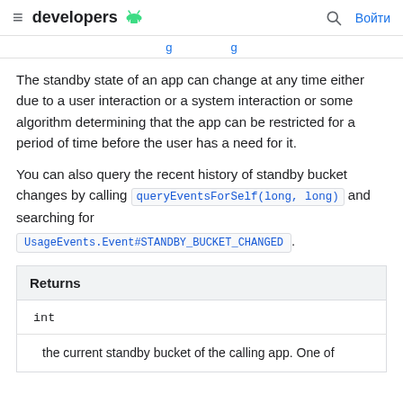developers [Android logo] [search] Войти
[truncated navigation link]
The standby state of an app can change at any time either due to a user interaction or a system interaction or some algorithm determining that the app can be restricted for a period of time before the user has a need for it.
You can also query the recent history of standby bucket changes by calling queryEventsForSelf(long, long) and searching for UsageEvents.Event#STANDBY_BUCKET_CHANGED.
| Returns |
| --- |
| int |
| the current standby bucket of the calling app. One of |